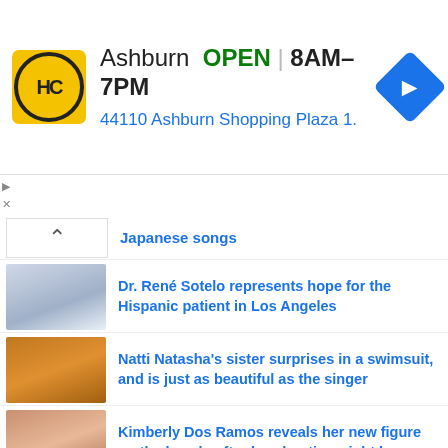[Figure (infographic): Advertisement banner for HC auto shop in Ashburn. Yellow HC logo circle, text: Ashburn OPEN 8AM-7PM, 44110 Ashburn Shopping Plaza 1., blue navigation icon on right.]
Japanese songs
Dr. René Sotelo represents hope for the Hispanic patient in Los Angeles
Natti Natasha's sister surprises in a swimsuit, and is just as beautiful as the singer
Kimberly Dos Ramos reveals her new figure on the beach, after her drastic weight loss
This was the scandalous love story between Ana Bárbara and El Pirru
IKCO Tara 2022, a specific Peugeot 301 for Iran
The Jeep Renegade 2022 arrives on the Spanish market